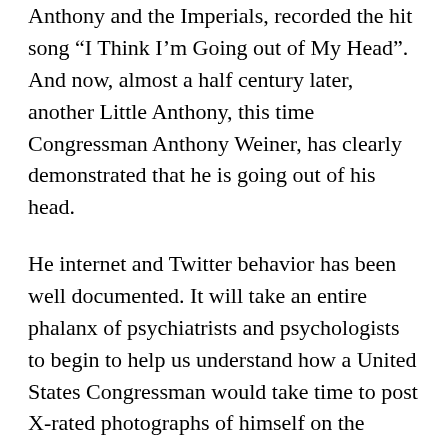Anthony and the Imperials, recorded the hit song “I Think I’m Going out of My Head”. And now, almost a half century later, another Little Anthony, this time Congressman Anthony Weiner, has clearly demonstrated that he is going out of his head.
He internet and Twitter behavior has been well documented. It will take an entire phalanx of psychiatrists and psychologists to begin to help us understand how a United States Congressman would take time to post X-rated photographs of himself on the Internet.